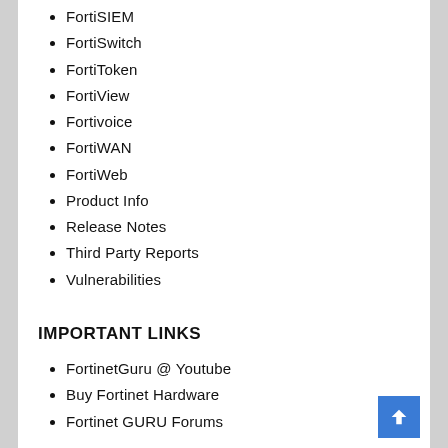FortiSIEM
FortiSwitch
FortiToken
FortiView
Fortivoice
FortiWAN
FortiWeb
Product Info
Release Notes
Third Party Reports
Vulnerabilities
IMPORTANT LINKS
FortinetGuru @ Youtube
Buy Fortinet Hardware
Fortinet GURU Forums